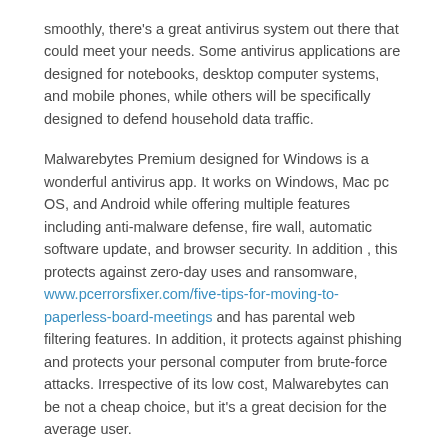smoothly, there's a great antivirus system out there that could meet your needs. Some antivirus applications are designed for notebooks, desktop computer systems, and mobile phones, while others will be specifically designed to defend household data traffic.
Malwarebytes Premium designed for Windows is a wonderful antivirus app. It works on Windows, Mac pc OS, and Android while offering multiple features including anti-malware defense, fire wall, automatic software update, and browser security. In addition , this protects against zero-day uses and ransomware, www.pcerrorsfixer.com/five-tips-for-moving-to-paperless-board-meetings and has parental web filtering features. In addition, it protects against phishing and protects your personal computer from brute-force attacks. Irrespective of its low cost, Malwarebytes can be not a cheap choice, but it's a great decision for the average user.
Great feature of Avast is certainly its capacity to scan for viruses and malware on your PC. Once you have sought your PC with Avast, a summary of issues will be displayed to fix or perhaps ignore. Avast's basic works are more in depth than a great many